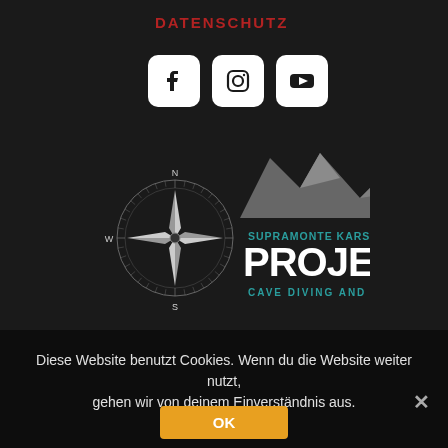DATENSCHUTZ
[Figure (logo): Three social media icons: Facebook, Instagram, YouTube — white rounded square icons on dark background]
[Figure (logo): Supramonte Karst Exploration Project - Cave Diving and Speleology logo with compass rose and mountain silhouette]
Diese Website benutzt Cookies. Wenn du die Website weiter nutzt, gehen wir von deinem Einverständnis aus.
OK